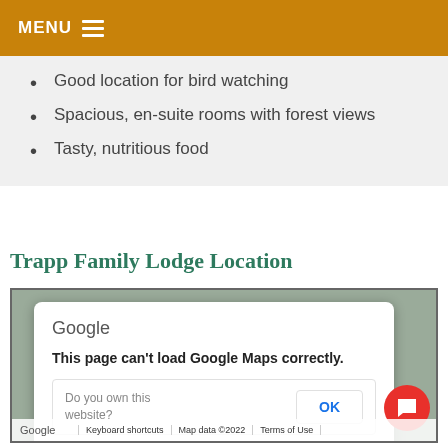MENU
Good location for bird watching
Spacious, en-suite rooms with forest views
Tasty, nutritious food
Trapp Family Lodge Location
[Figure (screenshot): Google Maps embed showing an error dialog: 'This page can't load Google Maps correctly.' with an OK button, and Google branding at the bottom with Keyboard shortcuts, Map data ©2022, and Terms of Use links. A red chat button is visible in the lower right corner.]